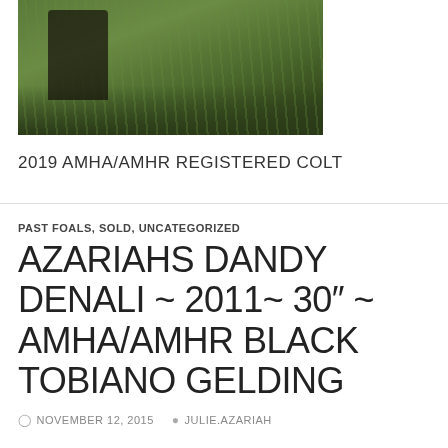[Figure (photo): Partial photo of a miniature horse or foal standing on green grass, with dark legs visible against the grass background. Image is cropped showing mainly the grass and lower body of the animal.]
2019 AMHA/AMHR REGISTERED COLT
PAST FOALS, SOLD, UNCATEGORIZED
AZARIAHS DANDY DENALI ~ 2011~ 30" ~ AMHA/AMHR BLACK TOBIANO GELDING
NOVEMBER 12, 2015  JULIE.AZARIAH